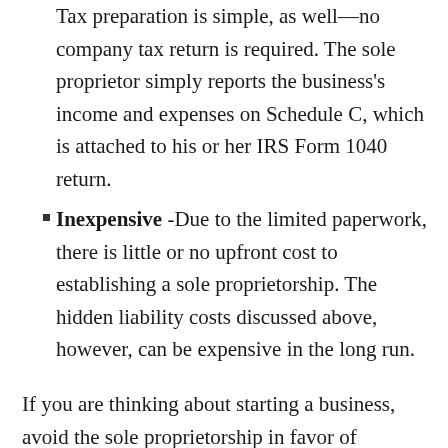Tax preparation is simple, as well—no company tax return is required. The sole proprietor simply reports the business's income and expenses on Schedule C, which is attached to his or her IRS Form 1040 return.
Inexpensive -Due to the limited paperwork, there is little or no upfront cost to establishing a sole proprietorship. The hidden liability costs discussed above, however, can be expensive in the long run.
If you are thinking about starting a business, avoid the sole proprietorship in favor of establishing a company. Stay tuned for my discussion of your options, such as